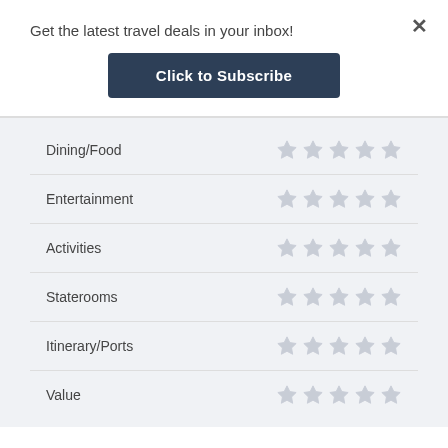Get the latest travel deals in your inbox!
Click to Subscribe
Dining/Food — 5 empty stars
Entertainment — 5 empty stars
Activities — 5 empty stars
Staterooms — 5 empty stars
Itinerary/Ports — 5 empty stars
Value — 5 empty stars